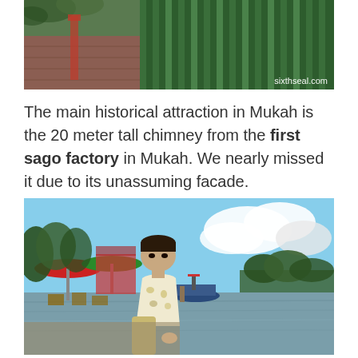[Figure (photo): Top portion of a photo showing green corrugated metal roofing and a brown/red brick wall, with 'sixthseal.com' watermark in bottom right corner]
The main historical attraction in Mukah is the 20 meter tall chimney from the first sago factory in Mukah. We nearly missed it due to its unassuming facade.
[Figure (photo): A young Asian man in a floral white/gold shirt standing near a waterfront. Behind him are colorful umbrellas (red, green), a dock area, a blue boat on the water, and trees on the far shore under a blue sky with clouds.]